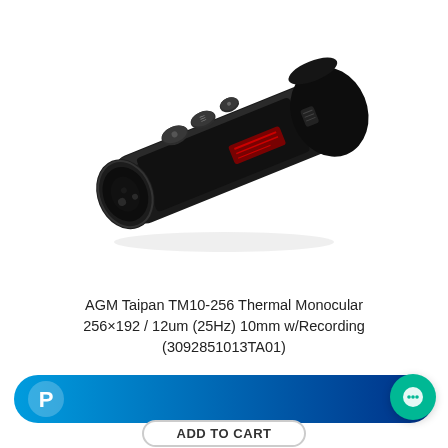[Figure (photo): AGM Taipan TM10-256 thermal monocular device, cylindrical black body with buttons on top, objective lens on left end and eyepiece on right end, red AGM logo on body, shown at an angle on white background]
AGM Taipan TM10-256 Thermal Monocular 256×192 / 12um (25Hz) 10mm w/Recording (3092851013TA01)
[Figure (other): PayPal checkout button — blue gradient rounded rectangle with PayPal P logo on left]
[Figure (other): Green chat/support bubble button in bottom right corner]
ADD TO CART